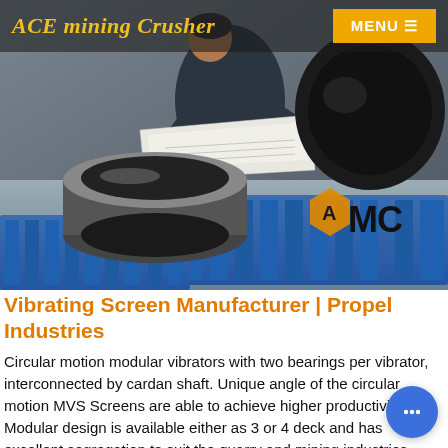ACE mining Crusher | MENU
[Figure (photo): Worker in dark jacket writing on paper documents, with cylindrical metal industrial parts in the foreground and blue pallet in the background. AMC logo overlay in the bottom right of the image.]
Vibrating Screen Manufacturer | Propel Industries
Circular motion modular vibrators with two bearings per vibrator, interconnected by cardan shaft. Unique angle of the circular motion MVS Screens are able to achieve higher productivity. Modular design is available either as 3 or 4 deck and has excellent segregation to suit the quarry and mining industries requirements.